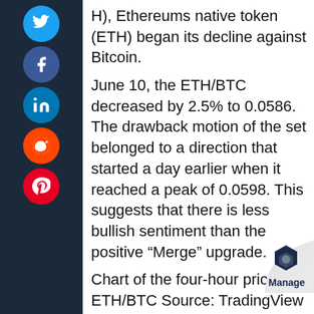H), Ethereums native token (ETH) began its decline against Bitcoin.
June 10, the ETH/BTC decreased by 2.5% to 0.0586. The drawback motion of the set belonged to a direction that started a day earlier when it reached a peak of 0.0598. This suggests that there is less bullish sentiment than the positive “Merge” upgrade.
Chart of the four-hour price of ETH/BTC Source: TradingView
The selloff occurred near ETH/BTCs 50-4H rapid moving mean (50-4H EMA, the red wave) at 0.06. As displayed in the chart, this technical resistance has been a cap to the pairs bullish efforts since May 12, as you can see.
What is Stripped Ether doing behind ETH/BTCs point?